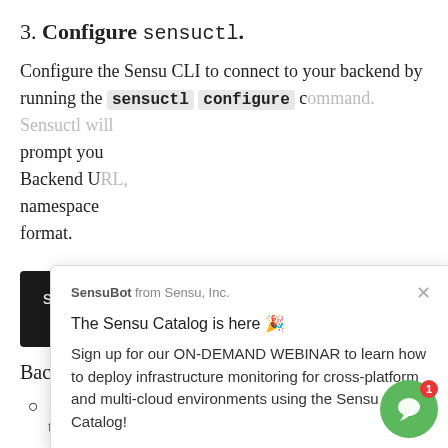3. Configure sensuctl.
Configure the Sensu CLI to connect to your backend by running the sensuctl configure command. Sensuctl will prompt you for a Sensu Backend URL, namespace, and output format.
[Figure (screenshot): Black terminal code block showing 'sensuctl' command with Sensu green diamond logo below]
Backend URL:
Self guided users: self-guided trainee who are running the
[Figure (screenshot): SensuBot popup from Sensu, Inc. with message: The Sensu Catalog is here 🎉 Sign up for our ON-DEMAND WEBINAR to learn how to deploy infrastructure monitoring for cross-platform and multi-cloud environments using the Sensu Catalog!]